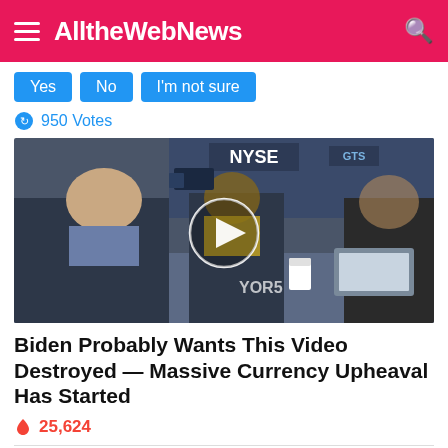AlltheWebNews
Yes | No | I'm not sure
950 Votes
[Figure (photo): Video thumbnail showing an interview at the NYSE trading floor with a play button overlay. An older man in a suit and two women are seated at a desk. The NYSE sign is visible in the background.]
Biden Probably Wants This Video Destroyed — Massive Currency Upheaval Has Started
25,624
Sponsored Ad